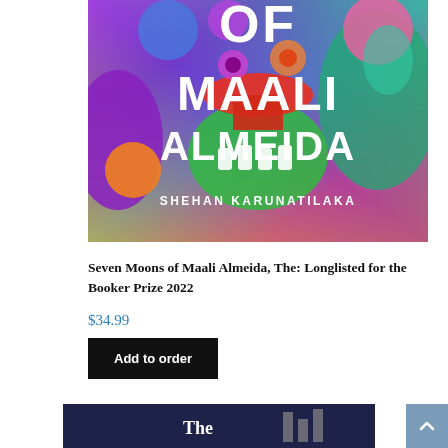[Figure (illustration): Book cover of 'Seven Moons of Maali Almeida' by Shehan Karunatilaka. Colorful, psychedelic cover art with abstract monster/skull imagery in bright purples, greens, pinks, oranges, and blues. Large white bold text reads 'OF MAALI ALMEIDA' with author name 'SHEHAN KARUNATILAKA' at the bottom.]
Seven Moons of Maali Almeida, The: Longlisted for the Booker Prize 2022
$34.99
Add to order
[Figure (screenshot): Partial view of another book cover with dark navy background, partially visible at the bottom of the page. White text 'The' is visible.]